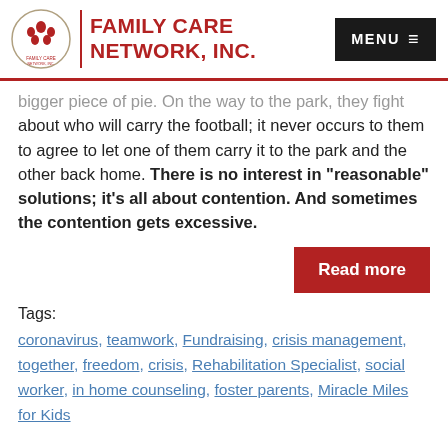Family Care Network, Inc.
bigger piece of pie. On the way to the park, they fight about who will carry the football; it never occurs to them to agree to let one of them carry it to the park and the other back home. There is no interest in "reasonable" solutions; it's all about contention. And sometimes the contention gets excessive.
Read more
Tags:
coronavirus, teamwork, Fundraising, crisis management, together, freedom, crisis, Rehabilitation Specialist, social worker, in home counseling, foster parents, Miracle Miles for Kids